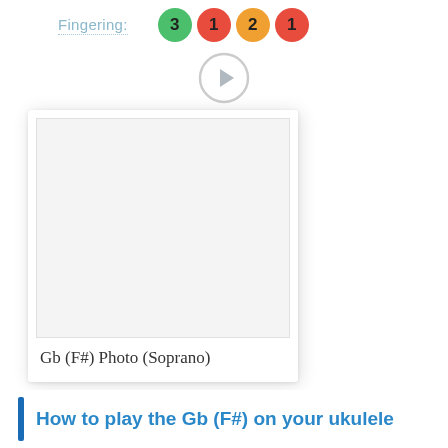Fingering: 3 1 2 1
[Figure (photo): Play button icon (circle with triangle/play symbol inside, light gray)]
[Figure (photo): Photo card showing Gb (F#) chord photo for soprano ukulele. White card with empty photo area and handwritten-style label: Gb (F#) Photo (Soprano)]
Gb (F#) Photo (Soprano)
How to play the Gb (F#) on your ukulele